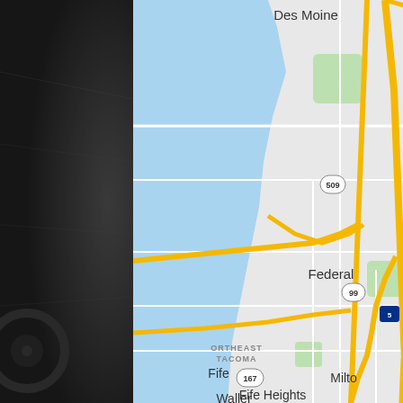[Figure (map): Google Maps screenshot showing the Federal Way, Washington area including Des Moines, Rhododendron Botanical area, Fife Heights, Fife, Milton, and surrounding roads. Major highways visible include I-5, SR-509, SR-99, SR-161, and SR-18. Features water bodies to the west (Puget Sound/lakes), yellow arterial roads, and green park areas. Points of interest include Rhododendron Botanical, a Theme Water Park marker, and various neighborhood labels like Northeast Tacoma, Fife Heights, Waller.]